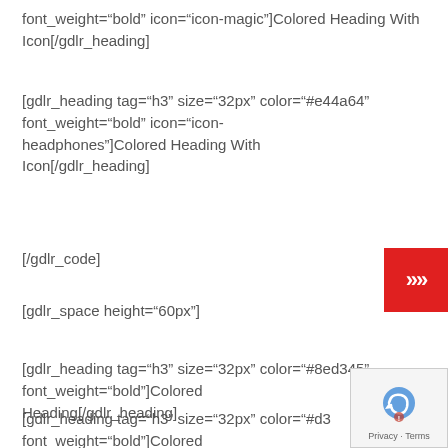font_weight="bold" icon="icon-magic"]Colored Heading With Icon[/gdlr_heading]
[gdlr_heading tag="h3" size="32px" color="#e44a64" font_weight="bold" icon="icon-headphones"]Colored Heading With Icon[/gdlr_heading]
[/gdlr_code]
[gdlr_space height="60px"]
[gdlr_heading tag="h3" size="32px" color="#8ed345" font_weight="bold"]Colored Heading[/gdlr_heading]
[gdlr_heading tag="h3" size="32px" color="#d3 font_weight="bold"]Colored
[Figure (other): Red button with double right arrows (>>)]
[Figure (other): Privacy & Terms reCAPTCHA badge with icon]